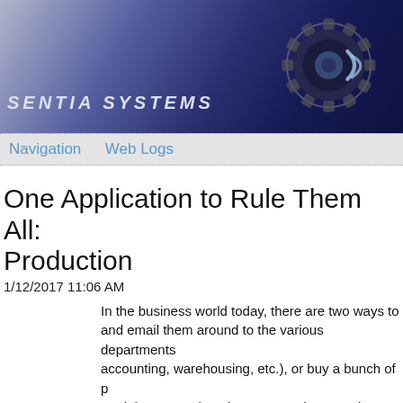SENTIA SYSTEMS
Navigation  Web Logs
One Application to Rule Them All: Production
1/12/2017 11:06 AM
In the business world today, there are two ways to and email them around to the various departments accounting, warehousing, etc.), or buy a bunch of p and then struggle to integrate and secure that soft but it suffers from the same problem that buying so securing it. Today, we are going to look at why this replacement for these two systems of running your
The replacement is to have one application custo